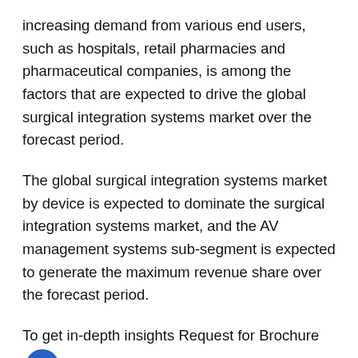increasing demand from various end users, such as hospitals, retail pharmacies and pharmaceutical companies, is among the factors that are expected to drive the global surgical integration systems market over the forecast period.
The global surgical integration systems market by device is expected to dominate the surgical integration systems market, and the AV management systems sub-segment is expected to generate the maximum revenue share over the forecast period.
To get in-depth insights Request for Brochure – https://www.factmr.com/connectus/sample?